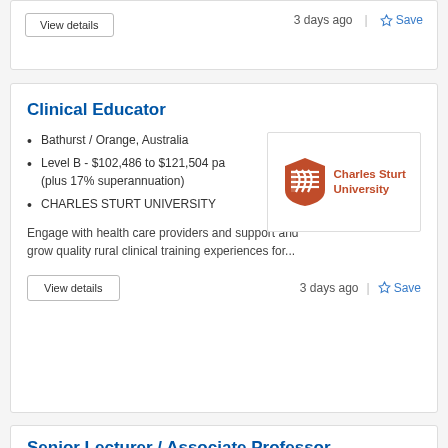View details
3 days ago | Save
Clinical Educator
Bathurst / Orange, Australia
Level B - $102,486 to $121,504 pa (plus 17% superannuation)
CHARLES STURT UNIVERSITY
[Figure (logo): Charles Sturt University logo with red shield and text]
Engage with health care providers and support and grow quality rural clinical training experiences for...
View details
3 days ago | Save
Senior Lecturer / Associate Professor,